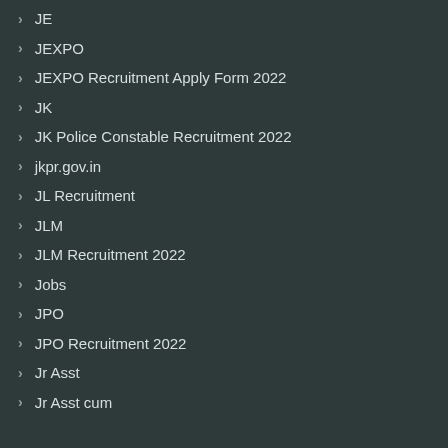JE
JEXPO
JEXPO Recruitment Apply Form 2022
JK
JK Police Constable Recruitment 2022
jkpr.gov.in
JL Recruitment
JLM
JLM Recruitment 2022
Jobs
JPO
JPO Recruitment 2022
Jr Asst
Jr Asst cum